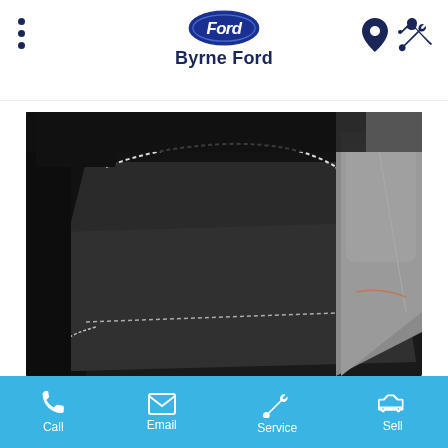Byrne Ford
[Figure (photo): Close-up photo of a black carpet premium velour car floor mat with white/grey stitching detail, with a grey leather seat visible on the right side]
Mats - Carpet Premium Velour - Grey Stitch - Rear Only
Call  Email  Service  Sell